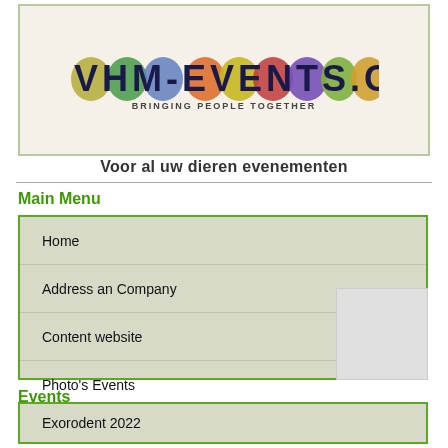[Figure (logo): VHM-EVENTS.COM logo with colorful balloon-like letters and tagline 'BRINGING PEOPLE TOGETHER']
Voor al uw dieren evenementen
Main Menu
Home
Address an Company
Content website
Photo's Events
Media Events
Reservation
Sponsorship
Contact form
Privacy statement
Events
Exorodent 2022